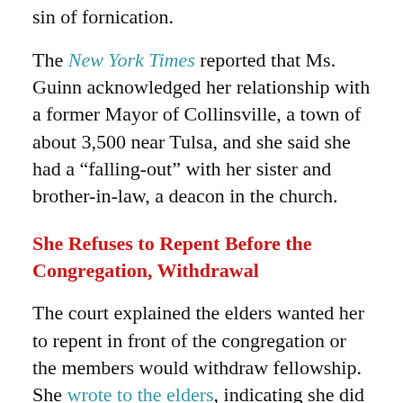sin of fornication.
The New York Times reported that Ms. Guinn acknowledged her relationship with a former Mayor of Collinsville, a town of about 3,500 near Tulsa, and she said she had a “falling-out” with her sister and brother-in-law, a deacon in the church.
She Refuses to Repent Before the Congregation, Withdrawal
The court explained the elders wanted her to repent in front of the congregation or the members would withdraw fellowship.  She wrote to the elders, indicating she did not want her private life exposed to the congregation, and said “I do not want to